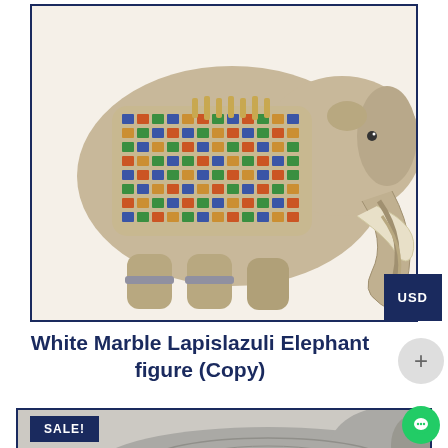[Figure (photo): Decorated marble elephant figurine with colorful mosaic pattern blanket/saddle, carved stone, facing right, trunk lowered, on white background inside dark navy border frame]
USD
White Marble Lapislazuli Elephant figure (Copy)
[Figure (photo): Gray stone/marble elephant figurine with intricate carved decorative patterns, partially visible, bottom of page, with SALE! badge in dark navy]
SALE!